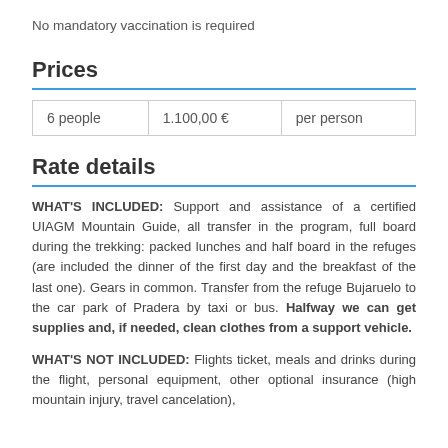No mandatory vaccination is required
Prices
| 6 people | 1.100,00 € | per person |
Rate details
WHAT'S INCLUDED: Support and assistance of a certified UIAGM Mountain Guide, all transfer in the program, full board during the trekking: packed lunches and half board in the refuges (are included the dinner of the first day and the breakfast of the last one). Gears in common. Transfer from the refuge Bujaruelo to the car park of Pradera by taxi or bus. Halfway we can get supplies and, if needed, clean clothes from a support vehicle.
WHAT'S NOT INCLUDED: Flights ticket, meals and drinks during the flight, personal equipment, other optional insurance (high mountain injury, travel cancelation),